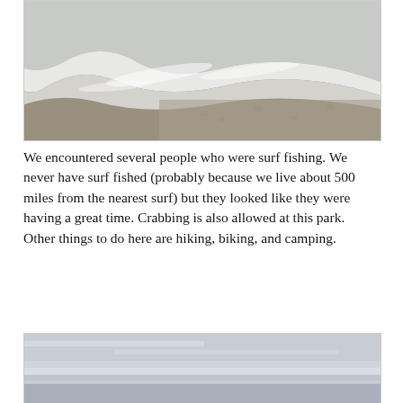[Figure (photo): Ocean waves washing up on a sandy beach, viewed from above. White sea foam visible against wet sand.]
We encountered several people who were surf fishing. We never have surf fished (probably because we live about 500 miles from the nearest surf) but they looked like they were having a great time. Crabbing is also allowed at this park. Other things to do here are hiking, biking, and camping.
[Figure (photo): Overcast sky with grey clouds above the ocean or beach horizon.]